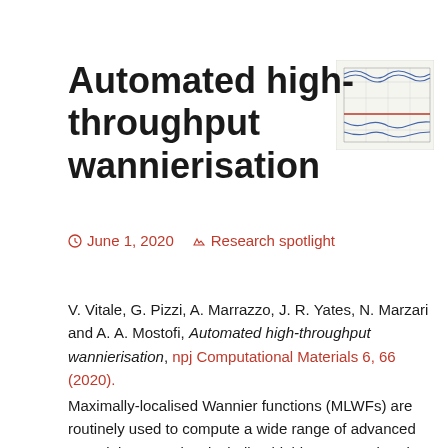Automated high-throughput wannierisation
June 1, 2020    Research spotlight
[Figure (other): Thumbnail image showing a band structure plot with red and blue lines on a grid background]
V. Vitale, G. Pizzi, A. Marrazzo, J. R. Yates, N. Marzari and A. A. Mostofi, Automated high-throughput wannierisation, npj Computational Materials 6, 66 (2020).
Maximally-localised Wannier functions (MLWFs) are routinely used to compute a wide range of advanced materials properties, including highly accurate band